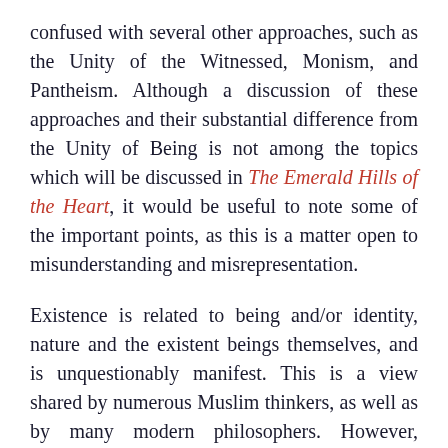confused with several other approaches, such as the Unity of the Witnessed, Monism, and Pantheism. Although a discussion of these approaches and their substantial difference from the Unity of Being is not among the topics which will be discussed in The Emerald Hills of the Heart, it would be useful to note some of the important points, as this is a matter open to misunderstanding and misrepresentation.
Existence is related to being and/or identity, nature and the existent beings themselves, and is unquestionably manifest. This is a view shared by numerous Muslim thinkers, as well as by many modern philosophers. However, existence is different from the existent beings, identity, and nature. Identity and nature must be conceived of before existence. For example, we can conceive of an amount of water with its identity and nature, even if it does not exist here. Its existence is additional and